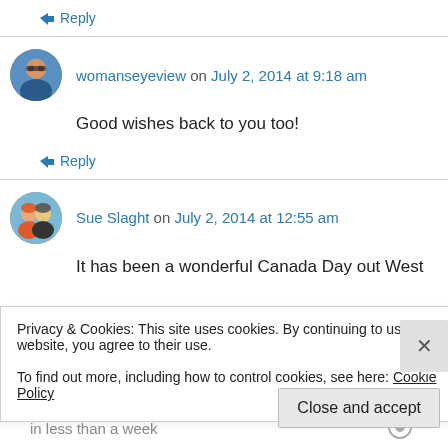↳ Reply
womanseyeview on July 2, 2014 at 9:18 am
Good wishes back to you too!
↳ Reply
Sue Slaght on July 2, 2014 at 12:55 am
It has been a wonderful Canada Day out West
Privacy & Cookies: This site uses cookies. By continuing to use this website, you agree to their use.
To find out more, including how to control cookies, see here: Cookie Policy
Close and accept
in less than a week